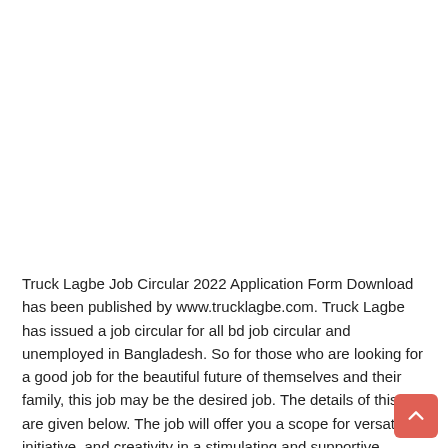Truck Lagbe Job Circular 2022 Application Form Download has been published by www.trucklagbe.com. Truck Lagbe has issued a job circular for all bd job circular and unemployed in Bangladesh. So for those who are looking for a good job for the beautiful future of themselves and their family, this job may be the desired job. The details of this job are given below. The job will offer you a scope for versatility, initiative, and creativity in a stimulating and supportive environment. Applications are invited for the following post with an attractive salary. If you want to apply, please read the following